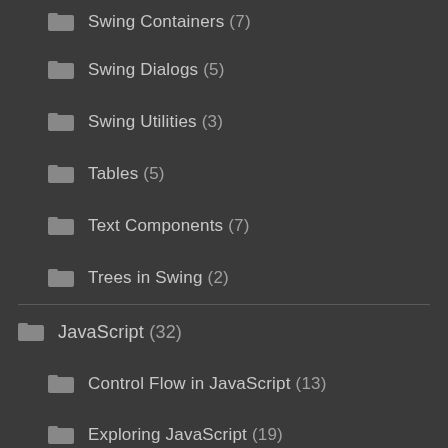Swing Containers (7)
Swing Dialogs (5)
Swing Utilities (3)
Tables (5)
Text Components (7)
Trees in Swing (2)
JavaScript (32)
Control Flow in JavaScript (13)
Exploring JavaScript (19)
jQuery (34)
Introduction to jQuery (9)
jQuery Events (21)